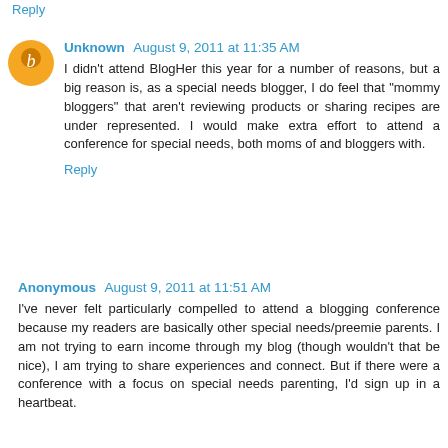Reply
Unknown  August 9, 2011 at 11:35 AM
I didn't attend BlogHer this year for a number of reasons, but a big reason is, as a special needs blogger, I do feel that "mommy bloggers" that aren't reviewing products or sharing recipes are under represented. I would make extra effort to attend a conference for special needs, both moms of and bloggers with.
Reply
Anonymous  August 9, 2011 at 11:51 AM
I've never felt particularly compelled to attend a blogging conference because my readers are basically other special needs/preemie parents. I am not trying to earn income through my blog (though wouldn't that be nice), I am trying to share experiences and connect. But if there were a conference with a focus on special needs parenting, I'd sign up in a heartbeat.